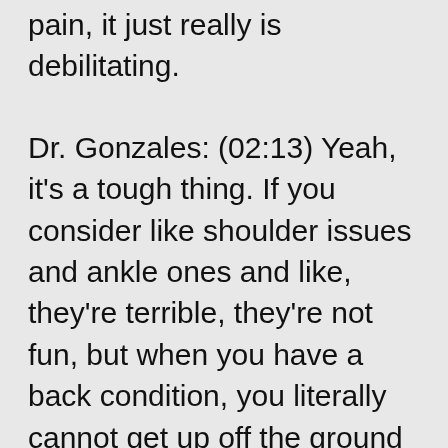pain, it just really is debilitating.
Dr. Gonzales: (02:13) Yeah, it's a tough thing. If you consider like shoulder issues and ankle ones and like, they're terrible, they're not fun, but when you have a back condition, you literally cannot get up off the ground sometimes. And I know that